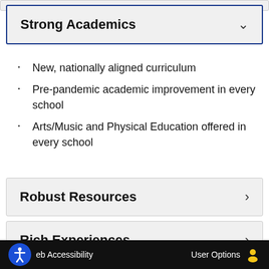Strong Academics
New, nationally aligned curriculum
Pre-pandemic academic improvement in every school
Arts/Music and Physical Education offered in every school
Robust Resources
Rich Experiences
Web Accessibility   User Options